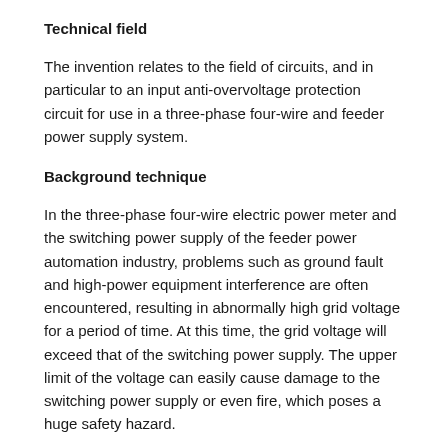Technical field
The invention relates to the field of circuits, and in particular to an input anti-overvoltage protection circuit for use in a three-phase four-wire and feeder power supply system.
Background technique
In the three-phase four-wire electric power meter and the switching power supply of the feeder power automation industry, problems such as ground fault and high-power equipment interference are often encountered, resulting in abnormally high grid voltage for a period of time. At this time, the grid voltage will exceed that of the switching power supply. The upper limit of the voltage can easily cause damage to the switching power supply or even fire, which poses a huge safety hazard.
There are two main methods for the existing switching power supply to solve the problem of high grid voltage. One is to increase the input overvoltage protection circuit, and the other is to increase the upper limit of the operating voltage range that the power supply can withstand. Among